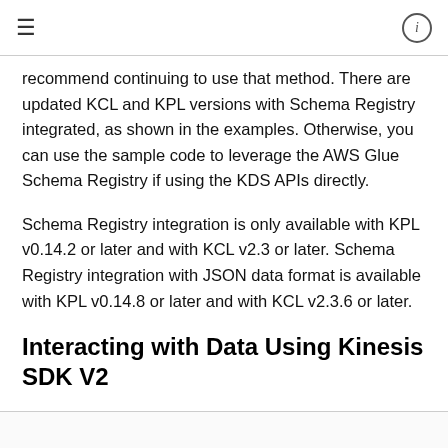≡    ⓘ
recommend continuing to use that method. There are updated KCL and KPL versions with Schema Registry integrated, as shown in the examples. Otherwise, you can use the sample code to leverage the AWS Glue Schema Registry if using the KDS APIs directly.
Schema Registry integration is only available with KPL v0.14.2 or later and with KCL v2.3 or later. Schema Registry integration with JSON data format is available with KPL v0.14.8 or later and with KCL v2.3.6 or later.
Interacting with Data Using Kinesis SDK V2
This section describes interacting with Kinesis using Kinesis SDK V2